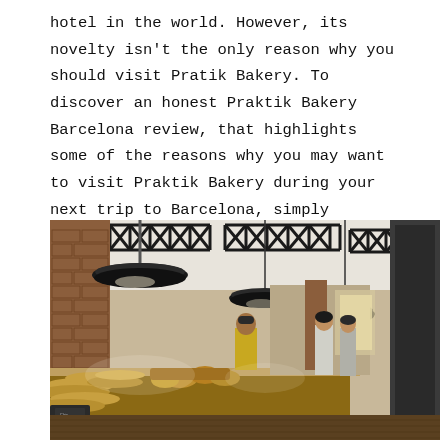hotel in the world. However, its novelty isn't the only reason why you should visit Pratik Bakery. To discover an honest Praktik Bakery Barcelona review, that highlights some of the reasons why you may want to visit Praktik Bakery during your next trip to Barcelona, simply continue reading.
[Figure (photo): Interior of Praktik Bakery Barcelona showing a long bakery counter with breads and baked goods, industrial black pendant lights hanging from a ceiling with black metal trusses, brick walls, a staff member in a yellow top behind the counter, and two customers standing at the counter, with the bakery extending into the background.]